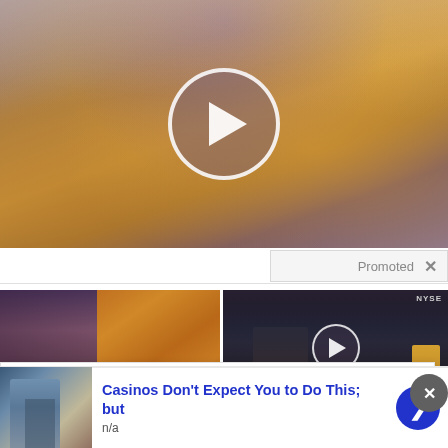[Figure (screenshot): Video thumbnail showing dramatic golden sunset clouds with white rays of light, overlaid with a large circular play button (white border, semi-transparent background, white play triangle) centered on the image.]
Promoted ×
[Figure (photo): Two side-by-side thumbnail images: left shows a woman and spices/food content; right shows a NYSE trading floor scene with a smaller play button overlay.]
[Figure (screenshot): White popup overlay with an X close button.]
A
[Figure (photo): Advertisement banner: thumbnail of a man at a casino, blue bold text reading 'Casinos Don't Expect You to Do This; but', subtext 'n/a', blue arrow circle button on the right. Close X circle button top right.]